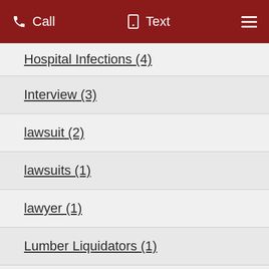Call  Text  ☰
Hospital Infections (4)
Interview (3)
lawsuit (2)
lawsuits (1)
lawyer (1)
Lumber Liquidators (1)
Malpractice (1)